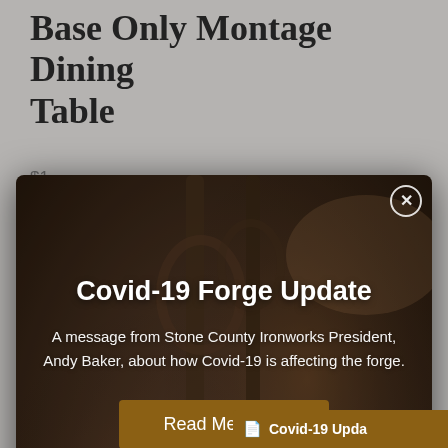Base Only Montage Dining Table
[Figure (screenshot): Modal popup overlay on a product page for 'Base Only Montage Dining Table'. The modal shows a Covid-19 Forge Update message over a dark photo of ironwork. Contains a close button (X circle) in the top right, a bold white title 'Covid-19 Forge Update', body text about a message from Stone County Ironworks President Andy Baker about Covid-19 affecting the forge, and a brown 'Read Message' button. Below the modal are two partial rows of finish/color swatch thumbnails. A brown notification bar at the bottom right reads 'Covid-19 Upda...']
A message from Stone County Ironworks President, Andy Baker, about how Covid-19 is affecting the forge.
Read Message
Covid-19 Upda